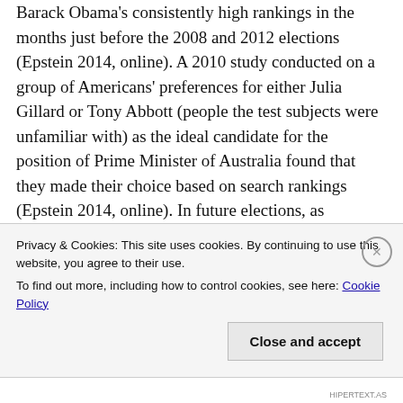Barack Obama's consistently high rankings in the months just before the 2008 and 2012 elections (Epstein 2014, online). A 2010 study conducted on a group of Americans' preferences for either Julia Gillard or Tony Abbott (people the test subjects were unfamiliar with) as the ideal candidate for the position of Prime Minister of Australia found that they made their choice based on search rankings (Epstein 2014, online). In future elections, as increasing numbers of undecided voters get their information on political matters through the Internet, the way that Google's algorithm works
Privacy & Cookies: This site uses cookies. By continuing to use this website, you agree to their use.
To find out more, including how to control cookies, see here: Cookie Policy
Close and accept
HIPERTEXT.AS